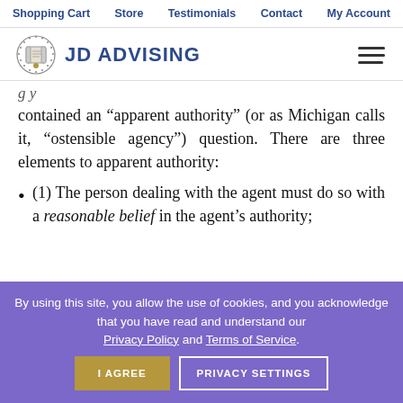Shopping Cart   Store   Testimonials   Contact   My Account
[Figure (logo): JD Advising logo with diploma icon and hamburger menu icon]
contained an “apparent authority” (or as Michigan calls it, “ostensible agency”) question. There are three elements to apparent authority:
(1) The person dealing with the agent must do so with a reasonable belief in the agent’s authority;
By using this site, you allow the use of cookies, and you acknowledge that you have read and understand our Privacy Policy and Terms of Service.